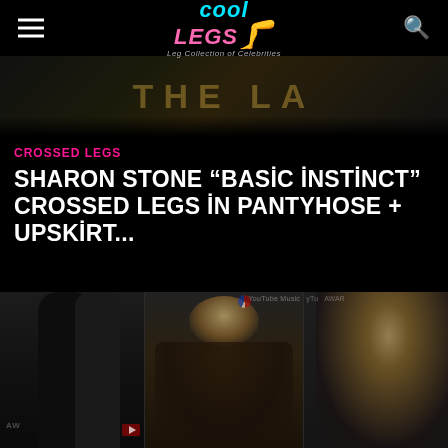Cool Legs — Leg Collection of Celebrities
[Figure (photo): Blurred background image of a stage or event with yellow lettering partially visible]
CROSSED LEGS
SHARON STONE "BASIC INSTINCT" CROSSED LEGS IN PANTYHOSE + UPSKIRT...
[Figure (photo): Three side-by-side celebrity photos: left shows legs in black outfit, center shows blonde woman getting makeup done at an awards event, right shows blonde woman in black low-cut dress at YouTube Music awards]